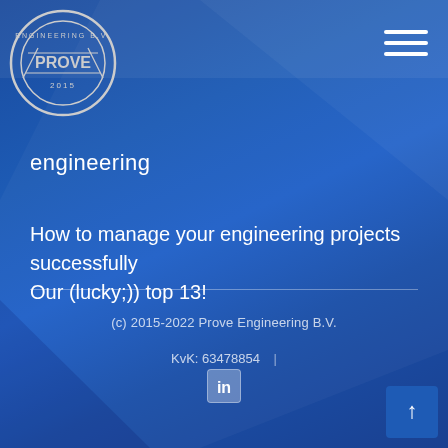[Figure (logo): Prove Engineering B.V. circular stamp logo with text 'ENGINEERING B.V. PROVE 2015']
engineering
How to manage your engineering projects successfully Our (lucky;)) top 13!
(c) 2015-2022 Prove Engineering B.V.
KvK: 63478854 |
[Figure (logo): LinkedIn icon]